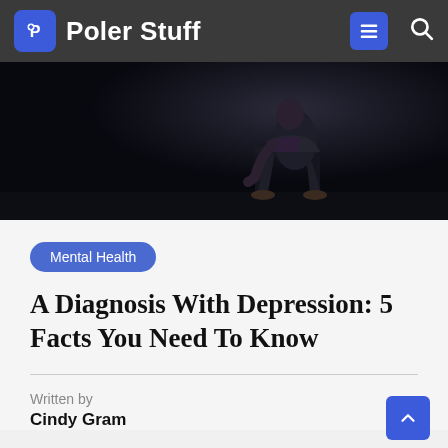Poler Stuff
[Figure (photo): Dark moody photo of a person sitting hunched over on a chair in a dark room, barefoot, suggesting depression or distress]
Mental Health
A Diagnosis With Depression: 5 Facts You Need To Know
Written by
Cindy Gram